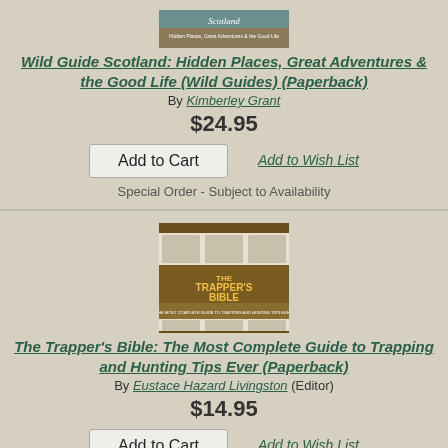[Figure (photo): Book cover of Wild Guide Scotland showing scenic landscape]
Wild Guide Scotland: Hidden Places, Great Adventures & the Good Life (Wild Guides) (Paperback)
By Kimberley Grant
$24.95
Add to Wish List
Add to Cart
Special Order - Subject to Availability
[Figure (photo): Book cover of The Trapper's Bible showing trapping equipment illustrations]
The Trapper's Bible: The Most Complete Guide to Trapping and Hunting Tips Ever (Paperback)
By Eustace Hazard Livingston (Editor)
$14.95
Add to Wish List
Add to Cart